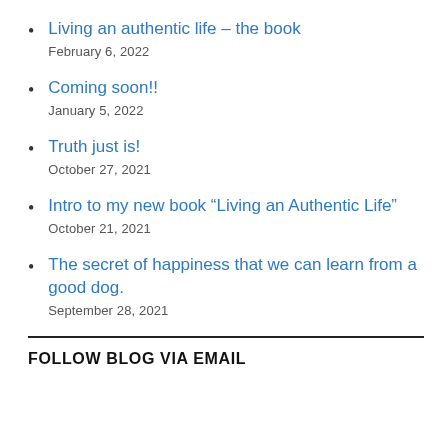Living an authentic life – the book
February 6, 2022
Coming soon!!
January 5, 2022
Truth just is!
October 27, 2021
Intro to my new book “Living an Authentic Life”
October 21, 2021
The secret of happiness that we can learn from a good dog.
September 28, 2021
FOLLOW BLOG VIA EMAIL